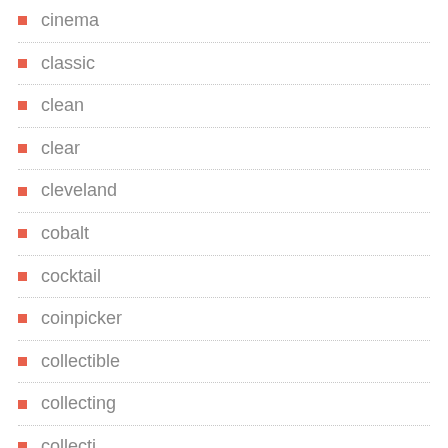cinema
classic
clean
clear
cleveland
cobalt
cocktail
coinpicker
collectible
collecting
collection